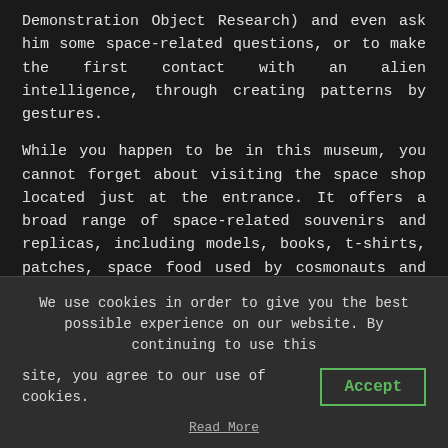Demonstration Object Research) and even ask him some space-related questions, or to make the first contact with an alien intelligence, through creating patterns by gestures.
While you happen to be in this museum, you cannot forget about visiting the space shop located just at the entrance. It offers a broad range of space-related souvenirs and replicas, including models, books, t-shirts, patches, space food used by cosmonauts and many, many others. As most of such souvenirs are really unique, visiting this shop is really a must for any space exploration geek.
If, after visiting the ‘Space pavilion’, one is still hungry of more space adventures, a short walk along the Prospect Mira alley is
We use cookies in order to give you the best possible experience on our website. By continuing to use this site, you agree to our use of cookies.
Accept
Read More